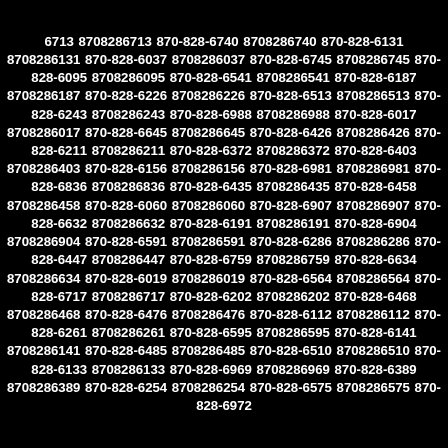6713 8708286713 870-828-6740 8708286740 870-828-6131 8708286131 870-828-6037 8708286037 870-828-6745 8708286745 870-828-6095 8708286095 870-828-6541 8708286541 870-828-6187 8708286187 870-828-6226 8708286226 870-828-6513 8708286513 870-828-6243 8708286243 870-828-6988 8708286988 870-828-6017 8708286017 870-828-6645 8708286645 870-828-6426 8708286426 870-828-6211 8708286211 870-828-6372 8708286372 870-828-6403 8708286403 870-828-6156 8708286156 870-828-6981 8708286981 870-828-6836 8708286836 870-828-6435 8708286435 870-828-6458 8708286458 870-828-6060 8708286060 870-828-6907 8708286907 870-828-6632 8708286632 870-828-6191 8708286191 870-828-6904 8708286904 870-828-6591 8708286591 870-828-6286 8708286286 870-828-6447 8708286447 870-828-6759 8708286759 870-828-6634 8708286634 870-828-6019 8708286019 870-828-6564 8708286564 870-828-6717 8708286717 870-828-6202 8708286202 870-828-6468 8708286468 870-828-6476 8708286476 870-828-6112 8708286112 870-828-6261 8708286261 870-828-6595 8708286595 870-828-6141 8708286141 870-828-6485 8708286485 870-828-6510 8708286510 870-828-6133 8708286133 870-828-6969 8708286969 870-828-6389 8708286389 870-828-6254 8708286254 870-828-6575 8708286575 870-828-6972